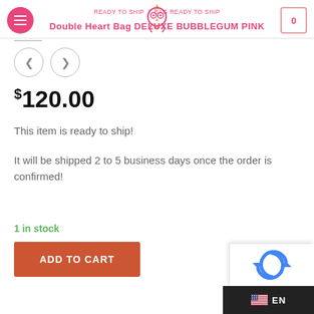READY TO SHIP / BAG READY TO SHIP | Double Heart Bag DELUXE BUBBLEGUM PINK
$120.00
This item is ready to ship!
It will be shipped 2 to 5 business days once the order is confirmed!
1 in stock
ADD TO CART